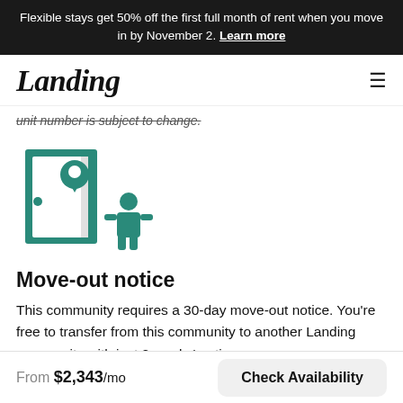Flexible stays get 50% off the first full month of rent when you move in by November 2. Learn more
Landing
unit number is subject to change.
[Figure (illustration): Teal icon of a door with a location pin and a person moving out]
Move-out notice
This community requires a 30-day move-out notice. You're free to transfer from this community to another Landing community with just 2 weeks' notice.
From $2,343/mo  Check Availability